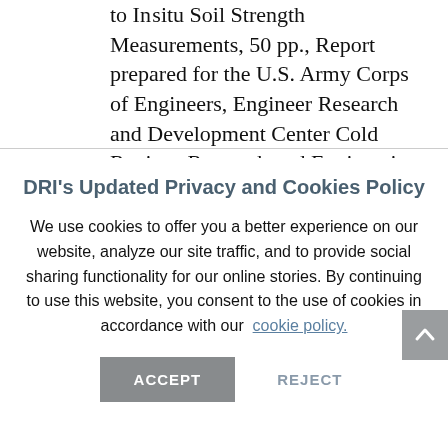to In situ Soil Strength Measurements, 50 pp., Report prepared for the U.S. Army Corps of Engineers, Engineer Research and Development Center Cold Regions Research and Engineering Laboratory
DRI's Updated Privacy and Cookies Policy
We use cookies to offer you a better experience on our website, analyze our site traffic, and to provide social sharing functionality for our online stories. By continuing to use this website, you consent to the use of cookies in accordance with our cookie policy.